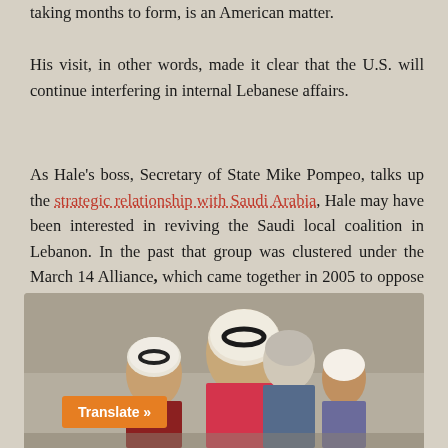taking months to form, is an American matter.
His visit, in other words, made it clear that the U.S. will continue interfering in internal Lebanese affairs.
As Hale's boss, Secretary of State Mike Pompeo, talks up the strategic relationship with Saudi Arabia, Hale may have been interested in reviving the Saudi local coalition in Lebanon. In the past that group was clustered under the March 14 Alliance, which came together in 2005 to oppose the regime in Syria and to push the Saudi-American-French agenda in Lebanon.
[Figure (photo): Photo showing people in Middle Eastern setting, with a Translate button overlay in orange]